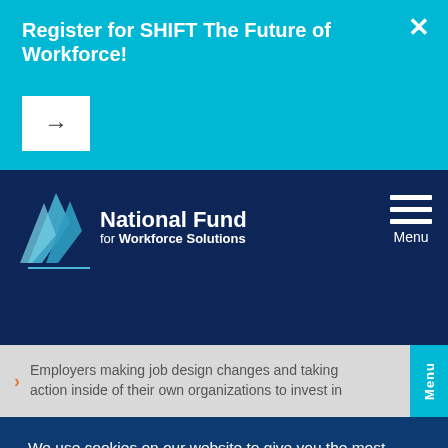Register for SHIFT The Future of Workforce!
[Figure (logo): National Fund for Workforce Solutions logo with blue angular shapes and white text]
Employers making job design changes and taking action inside of their own organizations to invest in
We use cookies on our website to give you the most relevant experience by remembering your preferences and repeat visits. By clicking “Accept”, you consent to the use of ALL the cookies.
Do not sell my personal information.
Cookie Settings
Accept